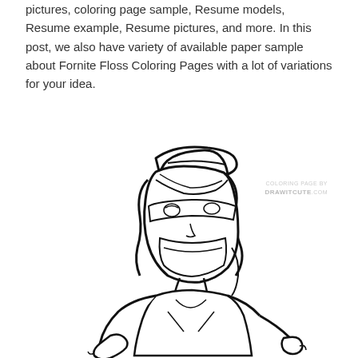pictures, coloring page sample, Resume models, Resume example, Resume pictures, and more. In this post, we also have variety of available paper sample about Fornite Floss Coloring Pages with a lot of variations for your idea.
[Figure (illustration): A coloring page illustration from drawitcute.com showing a Fortnite character (female) doing the floss dance, wearing a backwards cap and face mask, with line art style on white background. Watermark reads 'COLORING PAGE BY DRAWITCUTE.COM'.]